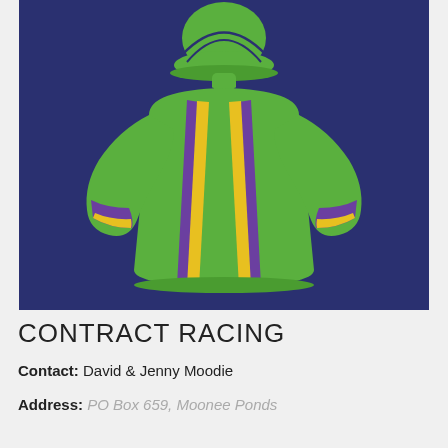[Figure (illustration): Jockey silks illustration on dark navy background. Green jockey top with vertical purple and yellow stripes, green helmet. Arms at sides/hips. Flat icon style.]
CONTRACT RACING
Contact: David & Jenny Moodie
Address: PO Box 659, Moonee Ponds